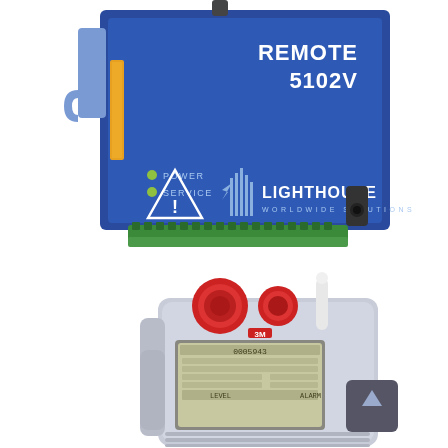[Figure (photo): Two Lighthouse Worldwide Solutions instruments. Top: A blue metal wall-mount enclosure labeled 'REMOTE 5102V' with a warning triangle symbol, POWER and SERVICE indicator LEDs, a row of green terminal connectors at the bottom, and the Lighthouse Worldwide Solutions logo on the front panel. A mounting bracket is visible on the left side. Bottom: A handheld particle counter instrument in a gray/silver enclosure with two red sampling inlet ports, a white probe/nozzle on top right, and an LCD display showing numeric readout. A dark gray scroll/up button widget is visible at the bottom right corner of the image.]